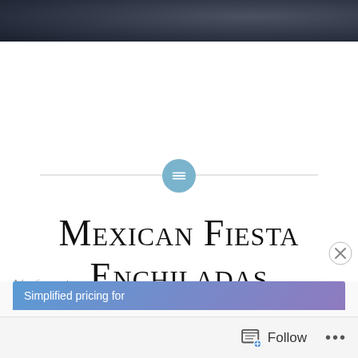[Figure (photo): Dark photo strip at the top of the page showing a dark blue/grey background, partial view of an object]
[Figure (illustration): Horizontal divider line with a light blue circular icon containing a menu/list symbol in the center]
Mexican Fiesta Enchiladas
I was living in my first apartment, sub-terrain unit #8, and a good friend and I decided we were going to tackle a Mexican dinner in my little galley kitchen. It was so
Advertisements
Simplified pricing for